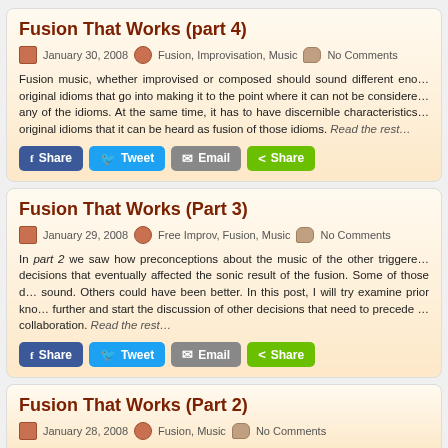Fusion That Works (part 4)
January 30, 2008  Fusion, Improvisation, Music  No Comments
Fusion music, whether improvised or composed should sound different enough from the original idioms that go into making it to the point where it can not be considered any of the idioms. At the same time, it has to have discernible characteristics of the original idioms that it can be heard as fusion of those idioms. Read the rest…
Fusion That Works (Part 3)
January 29, 2008  Free Improv, Fusion, Music  No Comments
In part 2 we saw how preconceptions about the music of the other triggered decisions that eventually affected the sonic result of the fusion. Some of those decisions sound. Others could have been better. In this post, I will try examine prior knowledge further and start the discussion of other decisions that need to precede a collaboration. Read the rest…
Fusion That Works (Part 2)
January 28, 2008  Fusion, Music  No Comments